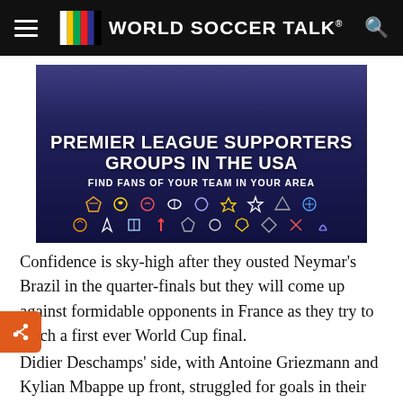WORLD SOCCER TALK
[Figure (illustration): Advertisement banner for Premier League Supporters Groups in the USA — dark blue/purple background with soccer team crests/icons arranged in two rows, headline text 'PREMIER LEAGUE SUPPORTERS GROUPS IN THE USA', subtitle 'FIND FANS OF YOUR TEAM IN YOUR AREA']
Confidence is sky-high after they ousted Neymar’s Brazil in the quarter-finals but they will come up against formidable opponents in France as they try to reach a first ever World Cup final.
Didier Deschamps’ side, with Antoine Griezmann and Kylian Mbappe up front, struggled for goals in their group matches but have now hit their stride,